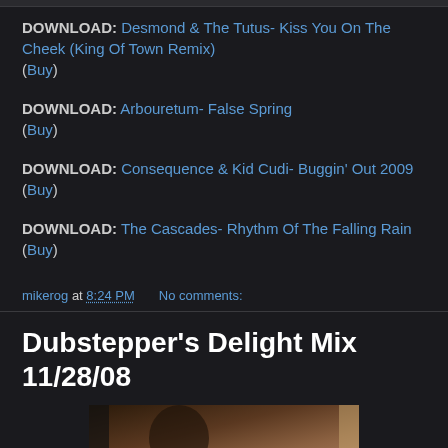DOWNLOAD: Desmond & The Tutus- Kiss You On The Cheek (King Of Town Remix)
(Buy)
DOWNLOAD: Arbouretum- False Spring
(Buy)
DOWNLOAD: Consequence & Kid Cudi- Buggin' Out 2009
(Buy)
DOWNLOAD: The Cascades- Rhythm Of The Falling Rain
(Buy)
mikerog at 8:24 PM    No comments:
Dubstepper's Delight Mix 11/28/08
[Figure (photo): Partial photo of a person or object, dark tones with brown/warm highlights, partially visible at bottom of page]